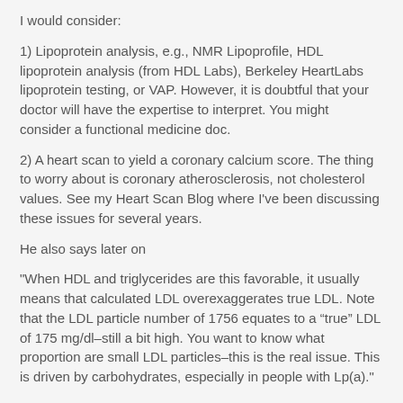I would consider:
1) Lipoprotein analysis, e.g., NMR Lipoprofile, HDL lipoprotein analysis (from HDL Labs), Berkeley HeartLabs lipoprotein testing, or VAP. However, it is doubtful that your doctor will have the expertise to interpret. You might consider a functional medicine doc.
2) A heart scan to yield a coronary calcium score. The thing to worry about is coronary atherosclerosis, not cholesterol values. See my Heart Scan Blog where I've been discussing these issues for several years.
He also says later on
"When HDL and triglycerides are this favorable, it usually means that calculated LDL overexaggerates true LDL. Note that the LDL particle number of 1756 equates to a “true” LDL of 175 mg/dl–still a bit high. You want to know what proportion are small LDL particles–this is the real issue. This is driven by carbohydrates, especially in people with Lp(a)."